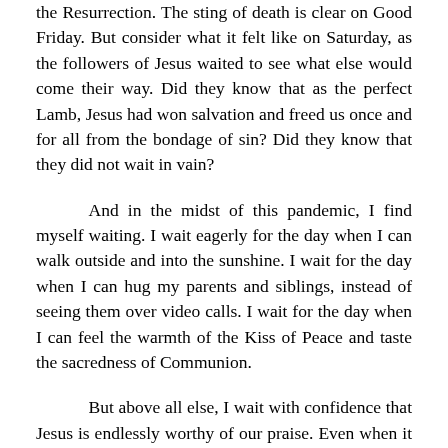the Resurrection. The sting of death is clear on Good Friday. But consider what it felt like on Saturday, as the followers of Jesus waited to see what else would come their way. Did they know that as the perfect Lamb, Jesus had won salvation and freed us once and for all from the bondage of sin? Did they know that they did not wait in vain?
And in the midst of this pandemic, I find myself waiting. I wait eagerly for the day when I can walk outside and into the sunshine. I wait for the day when I can hug my parents and siblings, instead of seeing them over video calls. I wait for the day when I can feel the warmth of the Kiss of Peace and taste the sacredness of Communion.
But above all else, I wait with confidence that Jesus is endlessly worthy of our praise. Even when it seems like we are losing the battle, I am reminded that He is fighting on our behalf. The good news of Easter is that Jesus rose from the dead, silencing the grave and taking His rightful place at the right